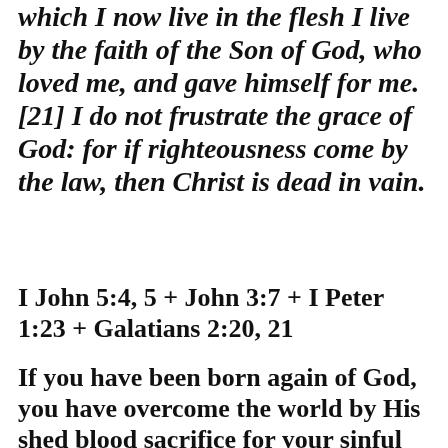which I now live in the flesh I live by the faith of the Son of God, who loved me, and gave himself for me. [21] I do not frustrate the grace of God: for if righteousness come by the law, then Christ is dead in vain.
I John 5:4, 5 + John 3:7 + I Peter 1:23 + Galatians 2:20, 21
If you have been born again of God, you have overcome the world by His shed blood sacrifice for your sinful state. Faith